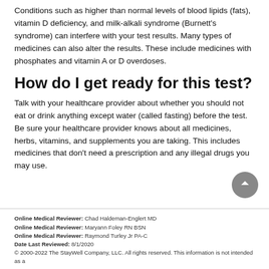Conditions such as higher than normal levels of blood lipids (fats), vitamin D deficiency, and milk-alkali syndrome (Burnett's syndrome) can interfere with your test results. Many types of medicines can also alter the results. These include medicines with phosphates and vitamin A or D overdoses.
How do I get ready for this test?
Talk with your healthcare provider about whether you should not eat or drink anything except water (called fasting) before the test. Be sure your healthcare provider knows about all medicines, herbs, vitamins, and supplements you are taking. This includes medicines that don't need a prescription and any illegal drugs you may use.
Online Medical Reviewer: Chad Haldeman-Englert MD
Online Medical Reviewer: Maryann Foley RN BSN
Online Medical Reviewer: Raymond Turley Jr PA-C
Date Last Reviewed: 8/1/2020
© 2000-2022 The StayWell Company, LLC. All rights reserved. This information is not intended as a